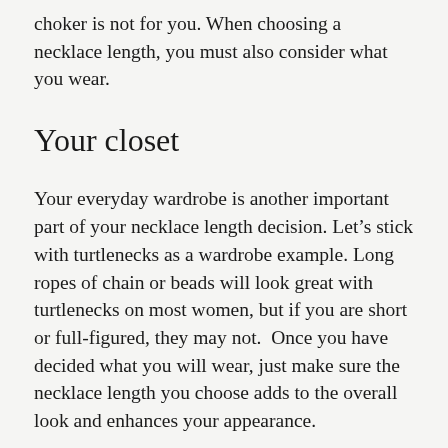choker is not for you. When choosing a necklace length, you must also consider what you wear.
Your closet
Your everyday wardrobe is another important part of your necklace length decision. Let’s stick with turtlenecks as a wardrobe example. Long ropes of chain or beads will look great with turtlenecks on most women, but if you are short or full-figured, they may not.  Once you have decided what you will wear, just make sure the necklace length you choose adds to the overall look and enhances your appearance.
There are many things to consider when you’re